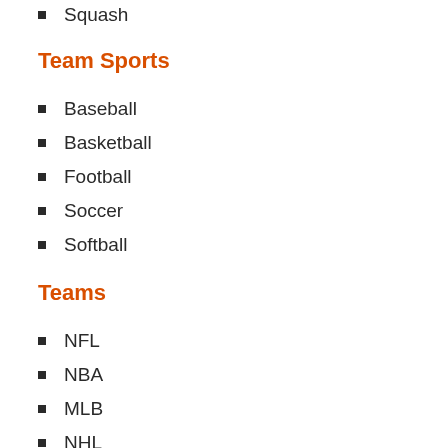Squash
Team Sports
Baseball
Basketball
Football
Soccer
Softball
Teams
NFL
NBA
MLB
NHL
NCAA